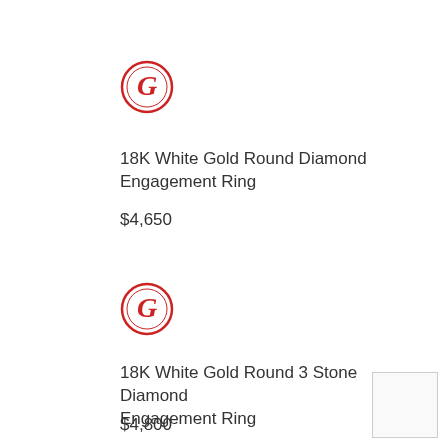[Figure (logo): Red circular logo with stylized G letter, first product]
18K White Gold Round Diamond Engagement Ring
$4,650
[Figure (logo): Red circular logo with stylized G letter, second product]
18K White Gold Round 3 Stone Diamond Engagement Ring
$4,800